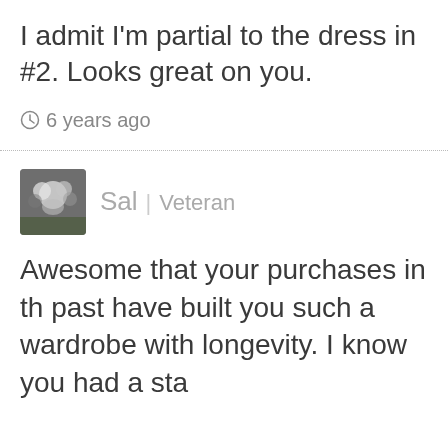I admit I'm partial to the dress in #2. Looks great on you.
6 years ago
Sal | Veteran
Awesome that your purchases in the past have built you such a wardrobe with longevity. I know you had a sta